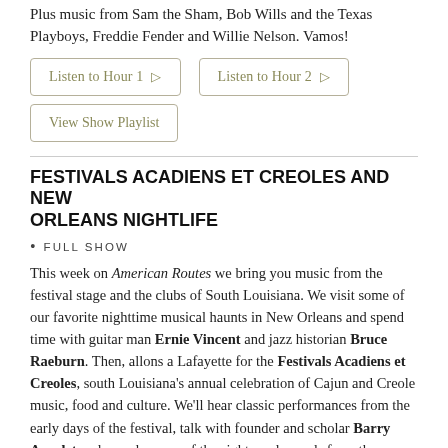Plus music from Sam the Sham, Bob Wills and the Texas Playboys, Freddie Fender and Willie Nelson. Vamos!
Listen to Hour 1
Listen to Hour 2
View Show Playlist
FESTIVALS ACADIENS ET CREOLES AND NEW ORLEANS NIGHTLIFE
FULL SHOW
This week on American Routes we bring you music from the festival stage and the clubs of South Louisiana. We visit some of our favorite nighttime musical haunts in New Orleans and spend time with guitar man Ernie Vincent and jazz historian Bruce Raeburn. Then, allons a Lafayette for the Festivals Acadiens et Creoles, south Louisiana's annual celebration of Cajun and Creole music, food and culture. We'll hear classic performances from the early days of the festival, talk with founder and scholar Barry Ancelet and sample some of the sights and sounds from the festival grounds.
Listen to Hour 1
Listen to Hour 2